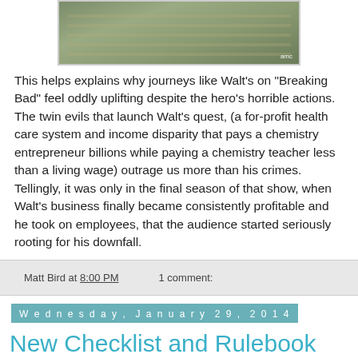[Figure (photo): Photo of stacks of money/cash on a surface, with AMC logo watermark in lower right corner]
This helps explains why journeys like Walt's on “Breaking Bad” feel oddly uplifting despite the hero’s horrible actions. The twin evils that launch Walt’s quest, (a for-profit health care system and income disparity that pays a chemistry entrepreneur billions while paying a chemistry teacher less than a living wage) outrage us more than his crimes. Tellingly, it was only in the final season of that show, when Walt’s business finally became consistently profitable and he took on employees, that the audience started seriously rooting for his downfall.
Matt Bird at 8:00 PM   1 comment:
Wednesday, January 29, 2014
New Checklist and Rulebook Casefile: Use of a (Literal) Framing Device in Donnie Brasco